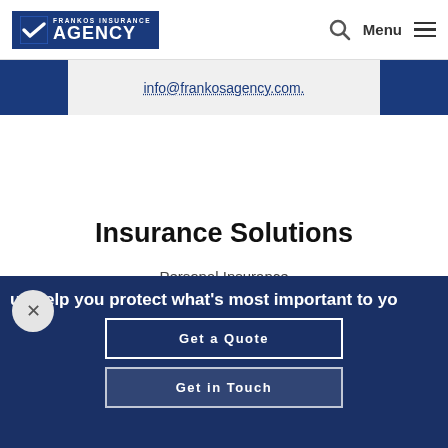[Figure (logo): Frankos Insurance Agency logo — white checkmark shield icon on dark blue background with text FRANKOS INSURANCE AGENCY]
info@frankosagency.com.
Insurance Solutions
Personal Insurance
Business Insurance
us help you protect what's most important to yo
Get a Quote
Get in Touch